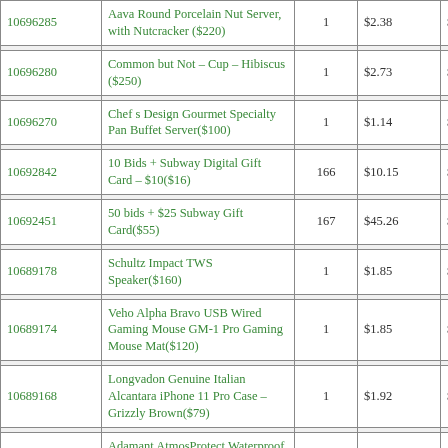| ID | Product | Qty | Price1 | Price2 |
| --- | --- | --- | --- | --- |
| 10696285 | Aava Round Porcelain Nut Server, with Nutcracker ($220) | 1 | $2.38 | $6.24 |
| 10696280 | Common but Not – Cup – Hibiscus ($250) | 1 | $2.73 | $4.85 |
| 10696270 | Chef s Design Gourmet Specialty Pan Buffet Server($100) | 1 | $1.14 | $6.54 |
| 10692842 | 10 Bids + Subway Digital Gift Card – $10($16) | 166 | $10.15 | $14.30 |
| 10692451 | 50 bids + $25 Subway Gift Card($55) | 167 | $45.26 | $46.70 |
| 10689178 | Schultz Impact TWS Speaker($160) | 1 | $1.85 | $9.52 |
| 10689174 | Veho Alpha Bravo USB Wired Gaming Mouse GM-1 Pro Gaming Mouse Mat($120) | 1 | $1.85 | $6.61 |
| 10689168 | Longvadon Genuine Italian Alcantara iPhone 11 Pro Case – Grizzly Brown($79) | 1 | $1.92 | $5.33 |
| 10689162 | Adamant AtmosProtect Waterproof Case – iPhone... ($85) | 1 | $2.35 | $6.05 |